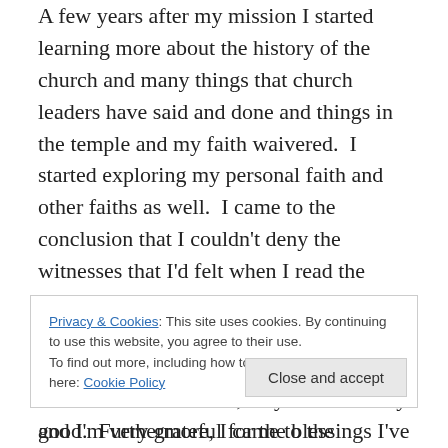A few years after my mission I started learning more about the history of the church and many things that church leaders have said and done and things in the temple and my faith waivered.  I started exploring my personal faith and other faiths as well.  I came to the conclusion that I couldn't deny the witnesses that I'd felt when I read the Book of Mormon and served in the church.  After examining other religions, I concluded that although our prophets and church aren't infallible, they are definitely good.  Furthermore, I came to the conclusion that it is o.k. if I don't know without a shadow of doubt everything there
Privacy & Cookies: This site uses cookies. By continuing to use this website, you agree to their use.
To find out more, including how to control cookies, see here: Cookie Policy
and I'm very grateful for the blessings I've recieved as I've